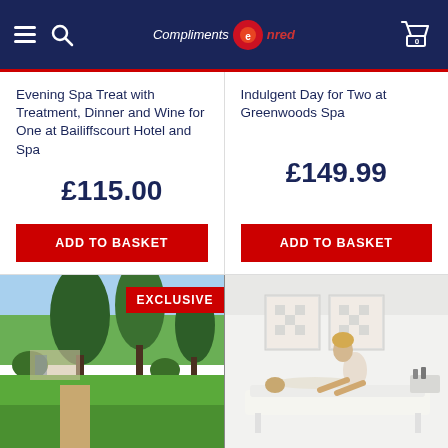Compliments Edenred
Evening Spa Treat with Treatment, Dinner and Wine for One at Bailiffscourt Hotel and Spa
£115.00
ADD TO BASKET
Indulgent Day for Two at Greenwoods Spa
£149.99
ADD TO BASKET
[Figure (photo): Exterior garden view of Bailiffscourt Hotel and Spa with large trees and green lawn, with EXCLUSIVE badge overlay]
[Figure (photo): Spa treatment room with therapist giving a back massage to a client on a white massage table, modern white interior]